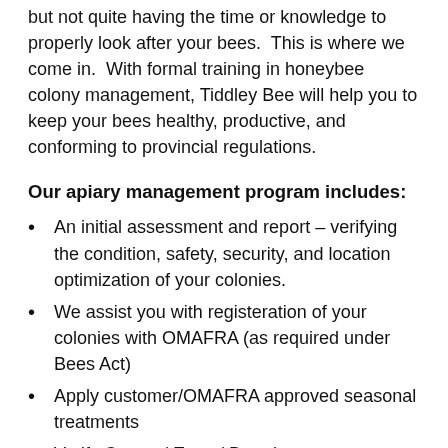but not quite having the time or knowledge to properly look after your bees. This is where we come in. With formal training in honeybee colony management, Tiddley Bee will help you to keep your bees healthy, productive, and conforming to provincial regulations.
Our apiary management program includes:
An initial assessment and report – verifying the condition, safety, security, and location optimization of your colonies.
We assist you with registeration of your colonies with OMAFRA (as required under Bees Act)
Apply customer/OMAFRA approved seasonal treatments
Verify Queen / Eggs / Brood
Monitor for disease and pests
And more and facilitate sign...